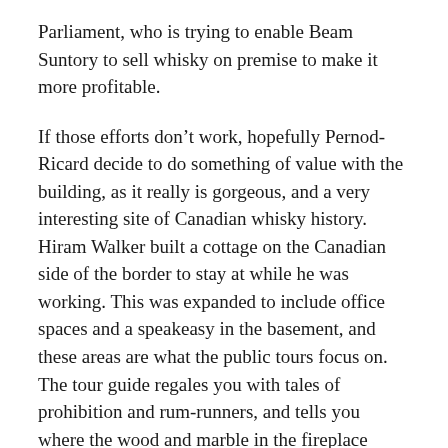Parliament, who is trying to enable Beam Suntory to sell whisky on premise to make it more profitable.
If those efforts don't work, hopefully Pernod-Ricard decide to do something of value with the building, as it really is gorgeous, and a very interesting site of Canadian whisky history. Hiram Walker built a cottage on the Canadian side of the border to stay at while he was working. This was expanded to include office spaces and a speakeasy in the basement, and these areas are what the public tours focus on. The tour guide regales you with tales of prohibition and rum-runners, and tells you where the wood and marble in the fireplace comes from, but doesn't say much about whisky, and unfortunately what he did say included some blatantly erroneous statements including:
“this whisky gets all of its colour from the wood, and